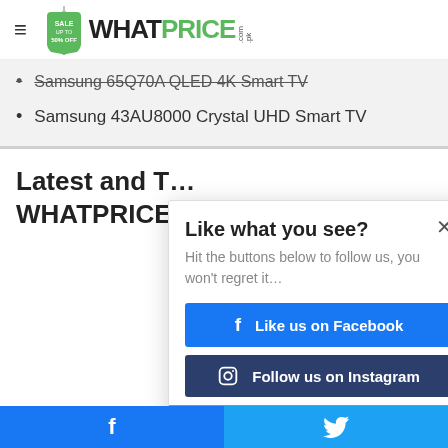[Figure (logo): WhatPrice.com.pk logo with green price tag SVG icon and WHATPRICE text in black and green]
Samsung 65Q70A QLED 4K Smart TV
Samsung 43AU8000 Crystal UHD Smart TV
Latest and T... WHATPRICE...
Like what you see?
Hit the buttons below to follow us, you won't regret it...
Like us on Facebook
Follow us on Instagram